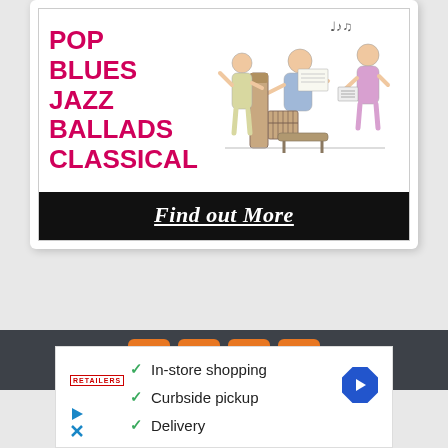[Figure (illustration): Music genres advertisement card showing text 'POP BLUES JAZZ BALLADS CLASSICAL' in pink/red on the left, a cartoon illustration of people singing around a piano on the right, and a black bar at the bottom with 'Find out More' in white italic underlined text.]
[Figure (infographic): Dark gray footer bar with four orange social media icon buttons (Facebook, Pinterest, YouTube, Twitter)]
[Figure (infographic): White ad box with green checkmarks listing: In-store shopping, Curbside pickup, Delivery. Includes small brand logo, blue navigation arrow icon, and small blue play/close icons.]